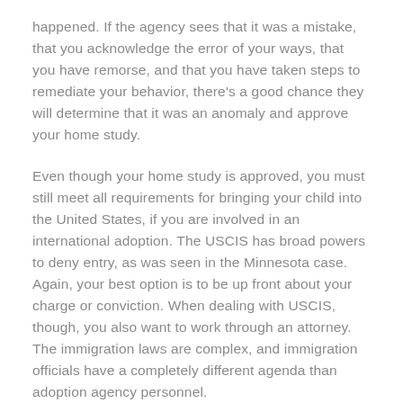happened. If the agency sees that it was a mistake, that you acknowledge the error of your ways, that you have remorse, and that you have taken steps to remediate your behavior, there's a good chance they will determine that it was an anomaly and approve your home study.
Even though your home study is approved, you must still meet all requirements for bringing your child into the United States, if you are involved in an international adoption. The USCIS has broad powers to deny entry, as was seen in the Minnesota case. Again, your best option is to be up front about your charge or conviction. When dealing with USCIS, though, you also want to work through an attorney. The immigration laws are complex, and immigration officials have a completely different agenda than adoption agency personnel.